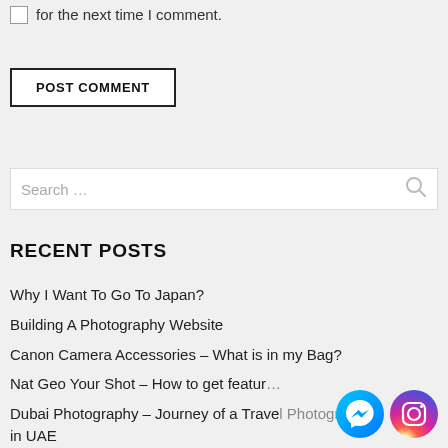for the next time I comment.
POST COMMENT
Search …
RECENT POSTS
Why I Want To Go To Japan?
Building A Photography Website
Canon Camera Accessories – What is in my Bag?
Nat Geo Your Shot – How to get featur…
Dubai Photography – Journey of a Travel Photographer in UAE